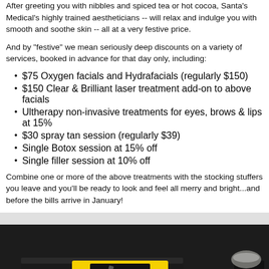After greeting you with nibbles and spiced tea or hot cocoa, Santa's Medical's highly trained aestheticians -- will relax and indulge you with smooth and soothe skin -- all at a very festive price.
And by "festive" we mean seriously deep discounts on a variety of services, booked in advance for that day only, including:
$75 Oxygen facials and Hydrafacials (regularly $150)
$150 Clear & Brilliant laser treatment add-on to above facials
Ultherapy non-invasive treatments for eyes, brows & lips at 15%
$30 spray tan session (regularly $39)
Single Botox session at 15% off
Single filler session at 10% off
Combine one or more of the above treatments with the stocking stuffers you leave and you'll be ready to look and feel all merry and bright...and before the bills arrive in January!
[Figure (photo): Hand holding a pen signing a restaurant check folder with a yellow Hearth Shares charity donation card visible, showing text 'TO HELP END HOMELESSNESS IN OUR COMMUNITY'. The Hearth Shares logo is visible on the yellow card.]